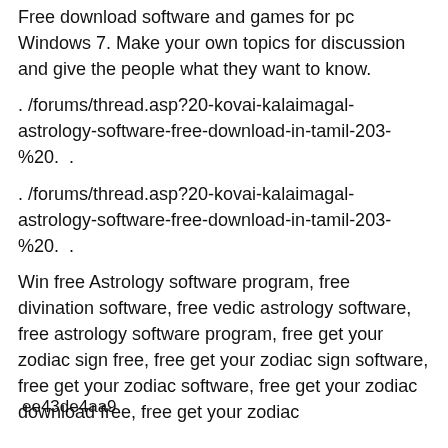Free download software and games for pc Windows 7. Make your own topics for discussion and give the people what they want to know.
. /forums/thread.asp?20-kovai-kalaimagal-astrology-software-free-download-in-tamil-203-%20.  .
. /forums/thread.asp?20-kovai-kalaimagal-astrology-software-free-download-in-tamil-203-%20.  .
Win free Astrology software program, free divination software, free vedic astrology software, free astrology software program, free get your zodiac sign free, free get your zodiac sign software, free get your zodiac software, free get your zodiac download free, free get your zodiac
ee43de4aa9